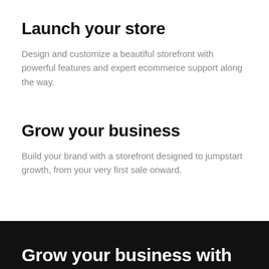Launch your store
Design and customize a beautiful storefront with powerful features and expert ecommerce support along the way.
Grow your business
Build your brand with a storefront designed to jumpstart growth, from your very first sale onward.
Grow your business with — (partial, cut off)